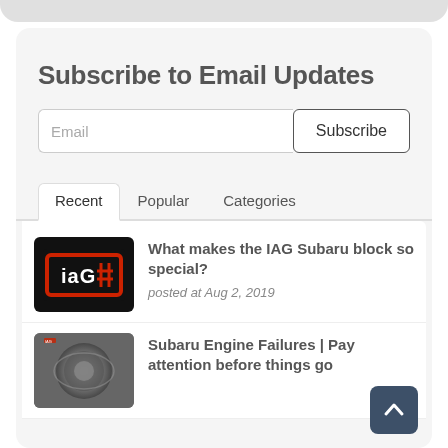Subscribe to Email Updates
Email
Subscribe
Recent | Popular | Categories
[Figure (logo): IAG logo on black background with red border]
What makes the IAG Subaru block so special?
posted at Aug 2, 2019
[Figure (photo): Close-up photo of a Subaru engine component]
Subaru Engine Failures | Pay attention before things go